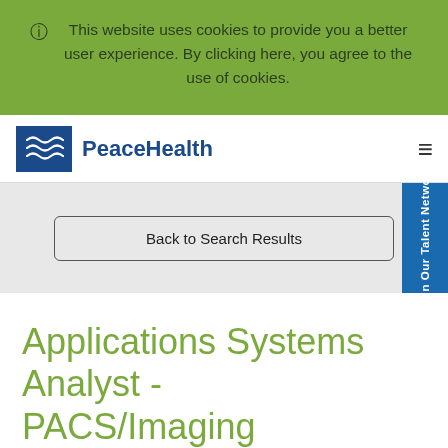This website uses cookies to provide you a better user experience. By clicking here, you agree to the use of cookies.
[Figure (logo): PeaceHealth logo with blue background wave icon and blue PeaceHealth text]
Back to Search Results
Join Our Talent Network
Applications Systems Analyst - PACS/Imaging (Remote)